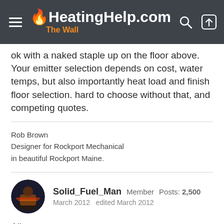HeatingHelp.com The Wall
ok with a naked staple up on the floor above. Your emitter selection depends on cost, water temps, but also importantly heat load and finish floor selection. hard to choose without that, and competing quotes.
Rob Brown
Designer for Rockport Mechanical
in beautiful Rockport Maine.
Solid_Fuel_Man  Member  Posts: 2,500
March 2012  edited March 2012
All true
I should have mentioned your situation would be different than mine. I have open joists in shop and